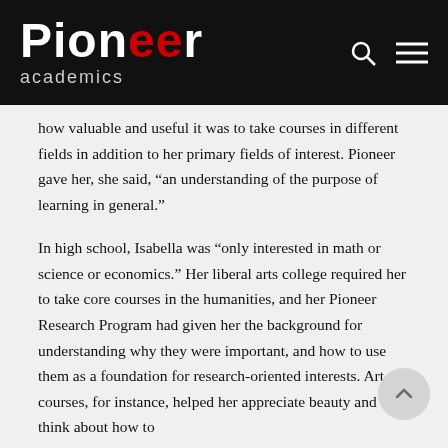Pioneer academics
how valuable and useful it was to take courses in different fields in addition to her primary fields of interest. Pioneer gave her, she said, “an understanding of the purpose of learning in general.”
In high school, Isabella was “only interested in math or science or economics.” Her liberal arts college required her to take core courses in the humanities, and her Pioneer Research Program had given her the background for understanding why they were important, and how to use them as a foundation for research-oriented interests. Art courses, for instance, helped her appreciate beauty and think about how to